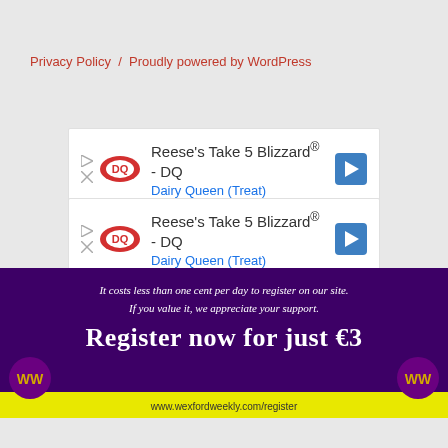Privacy Policy / Proudly powered by WordPress
[Figure (screenshot): Dairy Queen ad: Reese's Take 5 Blizzard® - DQ, Dairy Queen (Treat), with DQ logo and navigation arrow]
[Figure (screenshot): Dairy Queen ad: Reese's Take 5 Blizzard® - DQ, Dairy Queen (Treat), with DQ logo and navigation arrow]
[Figure (infographic): Wexford Weekly promotional banner: It costs less than one cent per day to register on our site. If you value it, we appreciate your support. Register now for just €3. www.wexfordweekly.com/register]